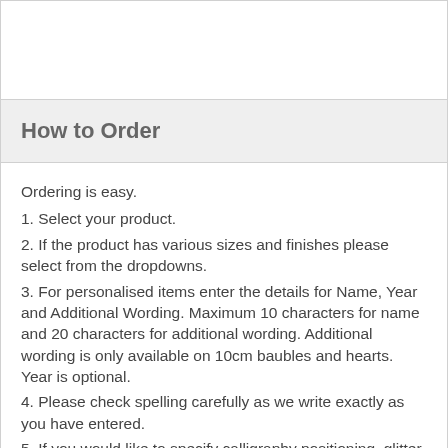How to Order
Ordering is easy.
1. Select your product.
2. If the product has various sizes and finishes please select from the dropdowns.
3. For personalised items enter the details for Name, Year and Additional Wording. Maximum 10 characters for name and 20 characters for additional wording. Additional wording is only available on 10cm baubles and hearts. Year is optional.
4. Please check spelling carefully as we write exactly as you have entered.
5. If you would like to specify calligraphy positioning, glitter colour and embellishments please enter details